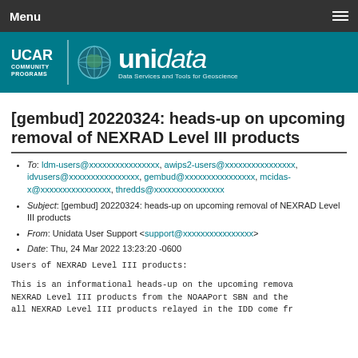Menu
[Figure (logo): UCAR Community Programs | Unidata – Data Services and Tools for Geoscience logo on teal background]
[gembud] 20220324: heads-up on upcoming removal of NEXRAD Level III products
To: ldm-users@xxxxxxxxxxxxxxxx, awips2-users@xxxxxxxxxxxxxxxx, idvusers@xxxxxxxxxxxxxxxx, gembud@xxxxxxxxxxxxxxxx, mcidas-x@xxxxxxxxxxxxxxxx, thredds@xxxxxxxxxxxxxxxx
Subject: [gembud] 20220324: heads-up on upcoming removal of NEXRAD Level III products
From: Unidata User Support <support@xxxxxxxxxxxxxxxx>
Date: Thu, 24 Mar 2022 13:23:20 -0600
Users of NEXRAD Level III products:
This is an informational heads-up on the upcoming removal of NEXRAD Level III products from the NOAAPort SBN and the all NEXRAD Level III products relayed in the IDD come fr